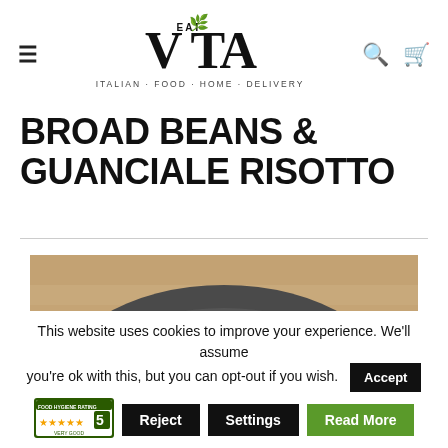VITA ITALIAN FOOD HOME DELIVERY
BROAD BEANS & GUANCIALE RISOTTO
[Figure (photo): A dark ceramic plate with broad beans and guanciale risotto, garnished with sliced broad beans and small meat pieces, on a wooden surface]
This website uses cookies to improve your experience. We'll assume you're ok with this, but you can opt-out if you wish.
Accept | Reject | Settings | Read More